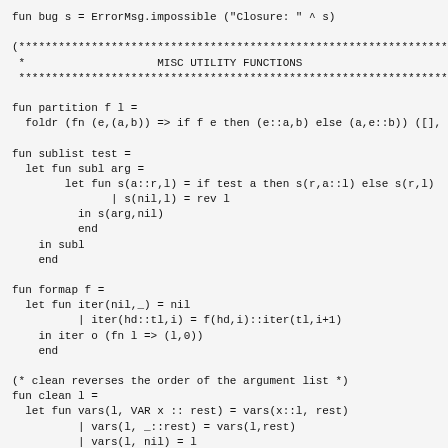fun bug s = ErrorMsg.impossible ("Closure: " ^ s)

(***********************************************************************
 *                    MISC UTILITY FUNCTIONS
 ***********************************************************************

fun partition f l =
  foldr (fn (e,(a,b)) => if f e then (e::a,b) else (a,e::b)) ([],

fun sublist test =
  let fun subl arg =
        let fun s(a::r,l) = if test a then s(r,a::l) else s(r,l)
               | s(nil,l) = rev l
          in s(arg,nil)
          end
    in subl
    end

fun formap f =
  let fun iter(nil,_) = nil
          | iter(hd::tl,i) = f(hd,i)::iter(tl,i+1)
    in iter o (fn l => (l,0))
    end

(* clean reverses the order of the argument list *)
fun clean l =
  let fun vars(l, VAR x :: rest) = vars(x::l, rest)
          | vars(l, _::rest) = vars(l,rest)
          | vars(l, nil) = l
    in vars(nil,l)
    end

fun uniqvar l = uniq(clean l)

fun entervar(VAR v,l) = enter(v,l)
  | entervar(_,l) = l